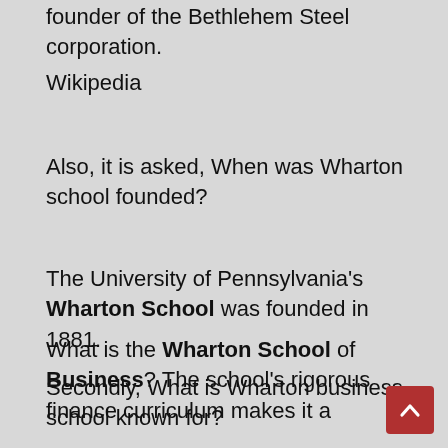founder of the Bethlehem Steel corporation.
Wikipedia
Also, it is asked, When was Wharton school founded?
The University of Pennsylvania's Wharton School was founded in 1881.
Secondly, What is Wharton business school known for?
What is the Wharton School of Business? The school's rigorous finance curriculum makes it a